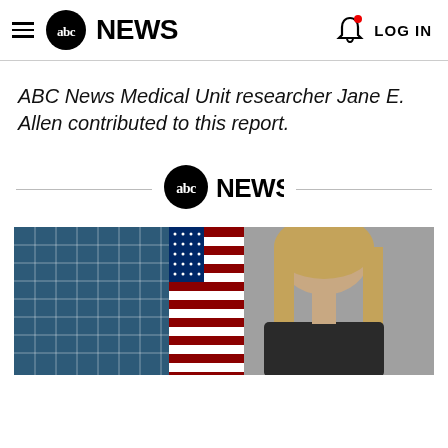ABC News
ABC News Medical Unit researcher Jane E. Allen contributed to this report.
[Figure (logo): ABC News logo centered between two horizontal divider lines]
[Figure (photo): Photo of a woman with long blonde hair in front of an American flag and solar panels]